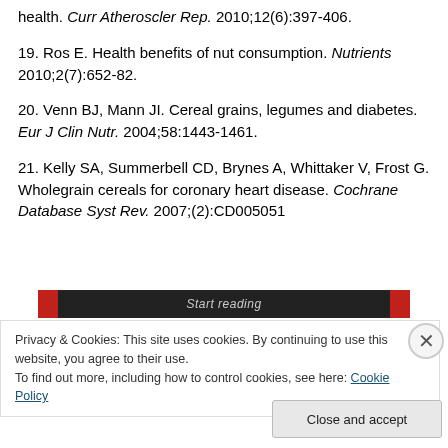health. Curr Atheroscler Rep. 2010;12(6):397-406.
19. Ros E. Health benefits of nut consumption. Nutrients 2010;2(7):652-82.
20. Venn BJ, Mann JI. Cereal grains, legumes and diabetes. Eur J Clin Nutr. 2004;58:1443-1461.
21. Kelly SA, Summerbell CD, Brynes A, Whittaker V, Frost G. Wholegrain cereals for coronary heart disease. Cochrane Database Syst Rev. 2007;(2):CD005051
[Figure (screenshot): Red and black 'Start reading' button bar]
Privacy & Cookies: This site uses cookies. By continuing to use this website, you agree to their use.
To find out more, including how to control cookies, see here: Cookie Policy